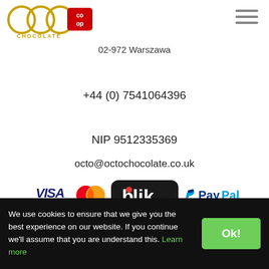[Figure (logo): Octo Chocolate logo with octopus icon and co-op symbol]
02-972 Warszawa
+44 (0) 7541064396
NIP 9512335369
octo@octochocolate.co.uk
[Figure (logo): Payment method logos: VISA, Mastercard, BLIK, PayPal, dotpay]
We use cookies to ensure that we give you the best experience on our website. If you continue we'll assume that you are understand this. Learn more